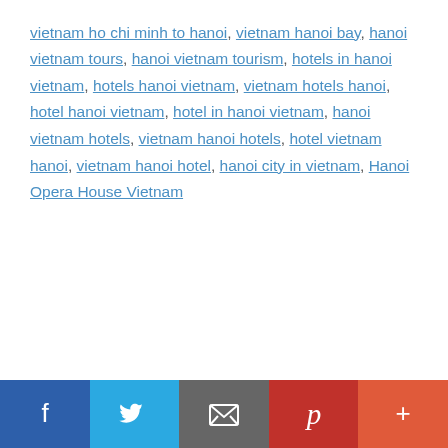vietnam ho chi minh to hanoi, vietnam hanoi bay, hanoi vietnam tours, hanoi vietnam tourism, hotels in hanoi vietnam, hotels hanoi vietnam, vietnam hotels hanoi, hotel hanoi vietnam, hotel in hanoi vietnam, hanoi vietnam hotels, vietnam hanoi hotels, hotel vietnam hanoi, vietnam hanoi hotel, hanoi city in vietnam, Hanoi Opera House Vietnam
[Figure (infographic): Social sharing bar with Facebook, Twitter, Email, Pinterest, and More buttons]